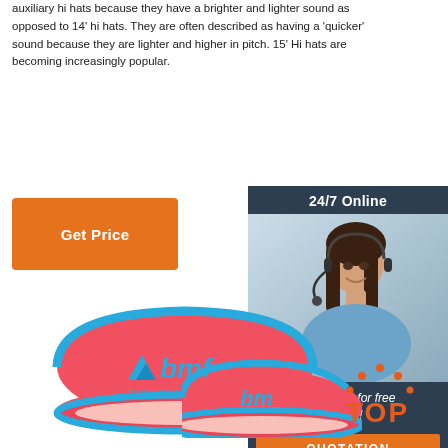auxiliary hi hats because they have a brighter and lighter sound as opposed to 14' hi hats. They are often described as having a 'quicker' sound because they are lighter and higher in pitch. 15' Hi hats are becoming increasingly popular.
[Figure (other): Orange 'Get Price' button]
[Figure (other): 24/7 Online chat box with woman wearing headset, 'Click here for free chat!' text, and orange QUOTATION button]
[Figure (photo): Red sports visor hat with blue trim and 'bmf blue mountains runners' logo]
[Figure (photo): Partial red sports visor hat with blue trim and bmf logo]
[Figure (logo): Orange TOP badge with dots arranged in triangle shape above the letters TOP]